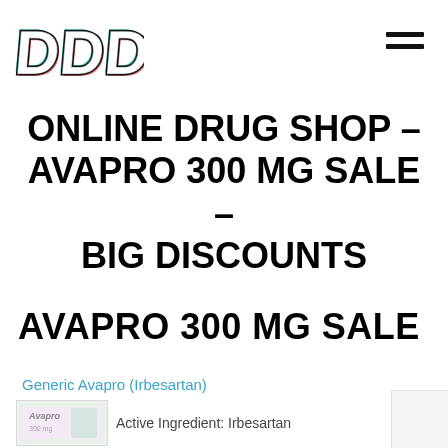[Figure (logo): DDD stylized 3D block letter logo with cyan/red shadow effect]
ONLINE DRUG SHOP – AVAPRO 300 MG SALE – BIG DISCOUNTS
AVAPRO 300 MG SALE
Generic Avapro (Irbesartan)
[Figure (photo): Avapro medication box product photo]
Active Ingredient: Irbesartan